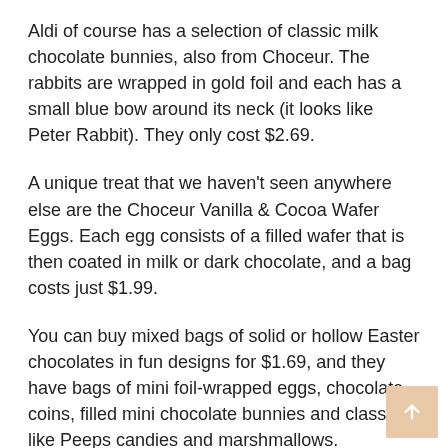Aldi of course has a selection of classic milk chocolate bunnies, also from Choceur. The rabbits are wrapped in gold foil and each has a small blue bow around its neck (it looks like Peter Rabbit). They only cost $2.69.
A unique treat that we haven't seen anywhere else are the Choceur Vanilla & Cocoa Wafer Eggs. Each egg consists of a filled wafer that is then coated in milk or dark chocolate, and a bag costs just $1.99.
You can buy mixed bags of solid or hollow Easter chocolates in fun designs for $1.69, and they have bags of mini foil-wrapped eggs, chocolate coins, filled mini chocolate bunnies and classics like Peeps candies and marshmallows.
too.